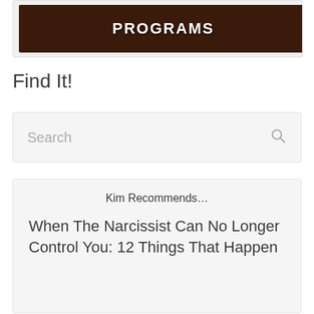[Figure (screenshot): A dark brownish-red banner image with white bold text reading 'PROGRAMS']
Find It!
Search
Kim Recommends…
When The Narcissist Can No Longer Control You: 12 Things That Happen